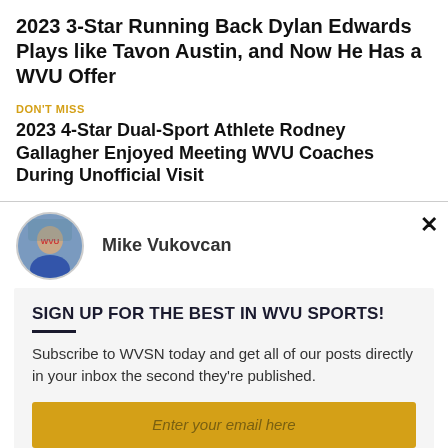2023 3-Star Running Back Dylan Edwards Plays like Tavon Austin, and Now He Has a WVU Offer
DON'T MISS
2023 4-Star Dual-Sport Athlete Rodney Gallagher Enjoyed Meeting WVU Coaches During Unofficial Visit
Mike Vukovcan
SIGN UP FOR THE BEST IN WVU SPORTS!
Subscribe to WVSN today and get all of our posts directly in your inbox the second they're published.
Enter your email here
SUBSCRIBE NOW!
We respect your privacy and will never sell your info